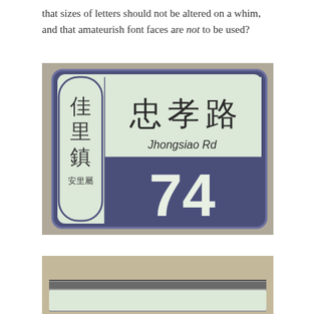that sizes of letters should not be altered on a whim, and that amateurish font faces are not to be used?
[Figure (photo): Photograph of a Taiwanese street sign showing '忠孝路 Jhongsiao Rd' with the number 74, with '佳里鎮' on the left side tab]
[Figure (photo): Partial photograph of another street sign at the bottom of the page]